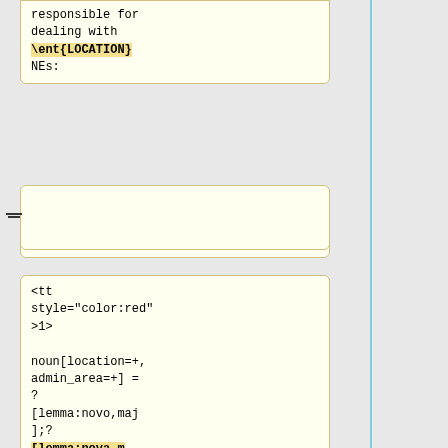responsible for dealing with \ent{LOCATION} NEs:
(empty card)
<tt style="color:red">1> noun[location=+, admin_area=+] = ? [lemma:novo,maj];? [lemma:nova,maj],</tt>
<tt style="color:red"> noun[location,maj].</tt>